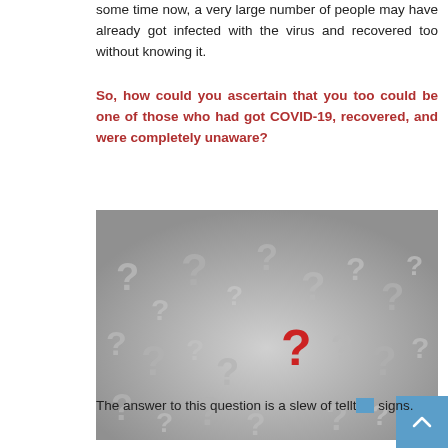some time now, a very large number of people may have already got infected with the virus and recovered too without knowing it.
So, how could you ascertain that you too could be one of those who had got COVID-19, recovered, and were completely unaware?
[Figure (photo): A pile of white 3D question mark symbols with one red question mark standing out in the center, representing uncertainty.]
The answer to this question is a slew of telltale signs.